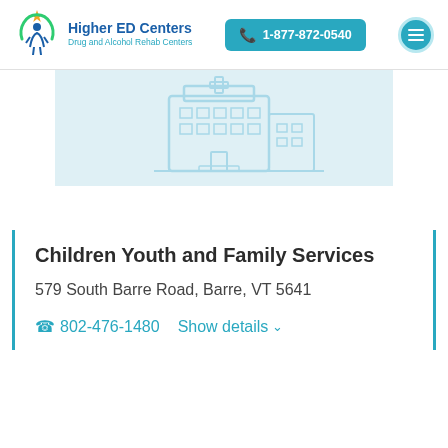Higher ED Centers — Drug and Alcohol Rehab Centers | 1-877-872-0540
[Figure (illustration): Light blue hospital/clinic building icon on a pale blue background banner]
Children Youth and Family Services
579 South Barre Road, Barre, VT 5641
802-476-1480    Show details